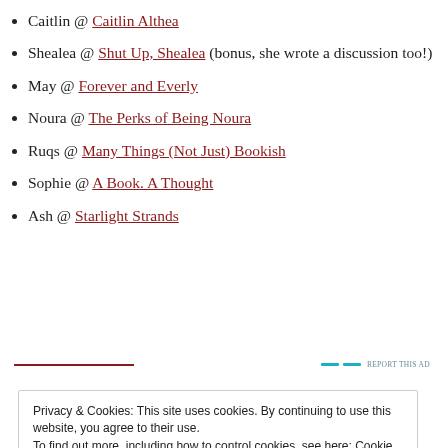Caitlin @ Caitlin Althea
Shealea @ Shut Up, Shealea (bonus, she wrote a discussion too!)
May @ Forever and Everly
Noura @ The Perks of Being Noura
Ruqs @ Many Things (Not Just) Bookish
Sophie @ A Book. A Thought
Ash @ Starlight Strands
Privacy & Cookies: This site uses cookies. By continuing to use this website, you agree to their use. To find out more, including how to control cookies, see here: Cookie Policy
Close and accept